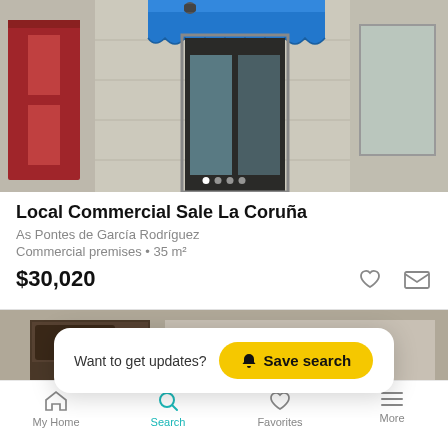[Figure (photo): Photo of a commercial storefront with a blue scalloped awning, glass doors, and stone facade]
Local Commercial Sale La Coruña
As Pontes de García Rodríguez
Commercial premises • 35 m²
$30,020
[Figure (photo): Photo of a second commercial storefront with dark facade]
Want to get updates? Save search
My Home  Search  Favorites  More